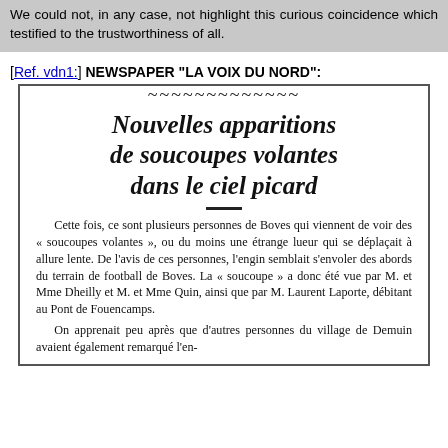We could not, in any case, not highlight this curious coincidence which testified to the trustworthiness of all.
[Ref. vdn1:] NEWSPAPER "LA VOIX DU NORD":
[Figure (other): Scanned newspaper clipping with decorative border at top, bold italic headline 'Nouvelles apparitions de soucoupes volantes dans le ciel picard', followed by body text in French describing multiple witnesses from Boves who saw flying saucers or a strange slow-moving light appearing to take off from the football field of Boves, seen by M. et Mme Dheilly, M. et Mme Quin, and M. Laurent Laporte at Pont de Fouencamps. A second paragraph begins about other persons from the village of Demuin who also noticed the object.]